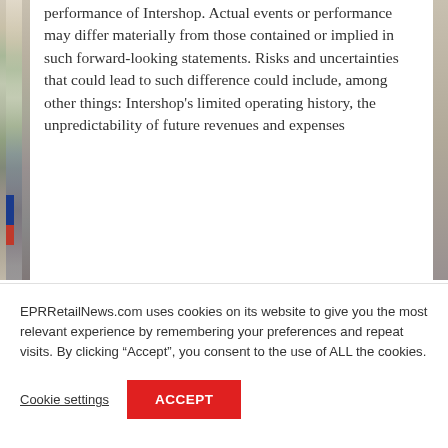[Figure (photo): Partial photo visible on the left side of the page, appears to be a retail or store scene with blue and red colored elements.]
performance of Intershop. Actual events or performance may differ materially from those contained or implied in such forward-looking statements. Risks and uncertainties that could lead to such difference could include, among other things: Intershop's limited operating history, the unpredictability of future revenues and expenses
EPRRetailNews.com uses cookies on its website to give you the most relevant experience by remembering your preferences and repeat visits. By clicking “Accept”, you consent to the use of ALL the cookies.
Cookie settings
ACCEPT